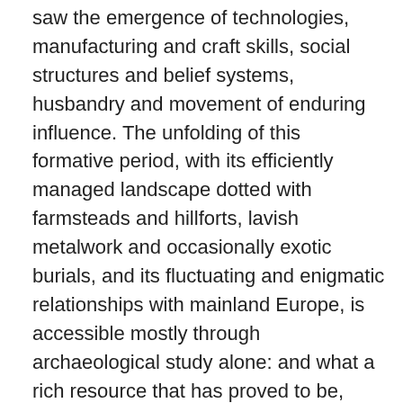saw the emergence of technologies, manufacturing and craft skills, social structures and belief systems, husbandry and movement of enduring influence. The unfolding of this formative period, with its efficiently managed landscape dotted with farmsteads and hillforts, lavish metalwork and occasionally exotic burials, and its fluctuating and enigmatic relationships with mainland Europe, is accessible mostly through archaeological study alone: and what a rich resource that has proved to be, especially through recent studies and techniques. Only at the very end does limited historical information become available when we are told of the presence of chariot borne warriors, kings, queens and Druids.
This module spans the late Bronze and Iron Ages, covering the often contentious tributing...